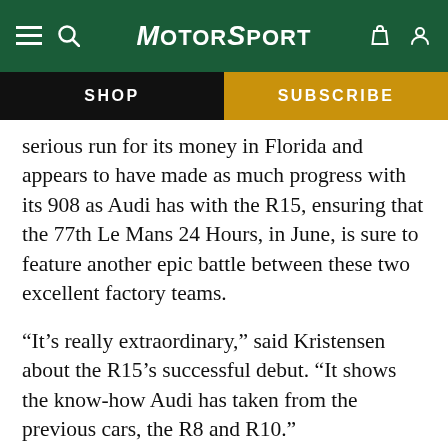MotorSport
SHOP
SUBSCRIBE
serious run for its money in Florida and appears to have made as much progress with its 908 as Audi has with the R15, ensuring that the 77th Le Mans 24 Hours, in June, is sure to feature another epic battle between these two excellent factory teams.
“It’s really extraordinary,” said Kristensen about the R15’s successful debut. “It shows the know-how Audi has taken from the previous cars, the R8 and R10.”
The R15 handles and brakes much better than